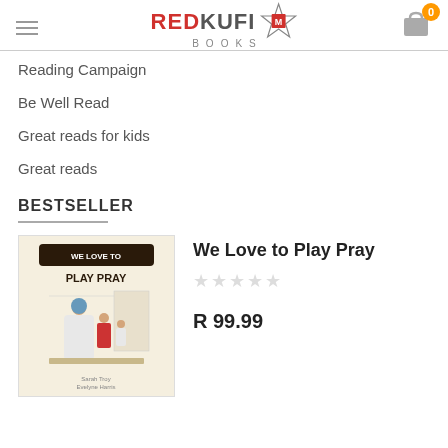RED KUFI BOOKS
Reading Campaign
Be Well Read
Great reads for kids
Great reads
BESTSELLER
[Figure (photo): Book cover: We Love to Play Pray, showing illustrated children and an adult praying]
We Love to Play Pray
☆☆☆☆☆
R 99.99